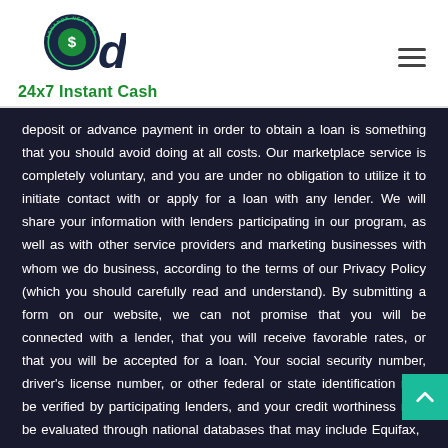[Figure (logo): Advance Near Me logo with circular dollar sign icon and dark navy letter 'd']
24x7 Instant Cash
deposit or advance payment in order to obtain a loan is something that you should avoid doing at all costs. Our marketplace service is completely voluntary, and you are under no obligation to utilize it to initiate contact with or apply for a loan with any lender. We will share your information with lenders participating in our program, as well as with other service providers and marketing businesses with whom we do business, according to the terms of our Privacy Policy (which you should carefully read and understand). By submitting a form on our website, we can not promise that you will be connected with a lender, that you will receive favorable rates, or that you will be accepted for a loan. Your social security number, driver's license number, or other federal or state identification may be verified by participating lenders, and your credit worthiness may be evaluated through national databases that may include Equifax,